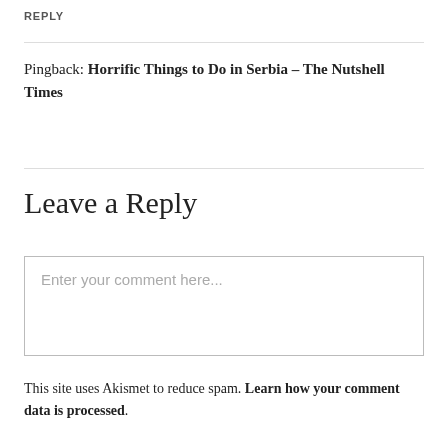REPLY
Pingback: Horrific Things to Do in Serbia – The Nutshell Times
Leave a Reply
Enter your comment here...
This site uses Akismet to reduce spam. Learn how your comment data is processed.